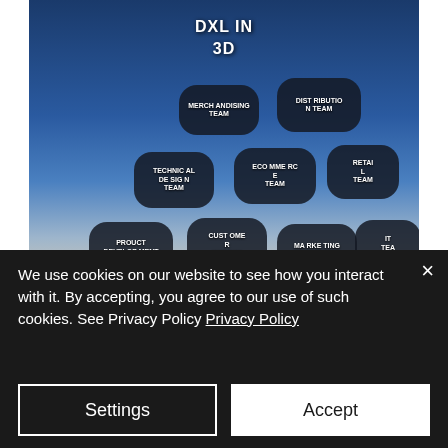[Figure (organizational-chart): DXL IN 3D organizational chart showing team nodes: Merchandising Team, Distribution Team, Technical Design Team, Ecommerce Team, Retail Team, Product Development Team, Customer Service Team, Marketing Team, IT Team arranged in a 3D perspective on a blue background]
We use cookies on our website to see how you interact with it. By accepting, you agree to our use of such cookies. See Privacy Policy Privacy Policy
Settings
Accept